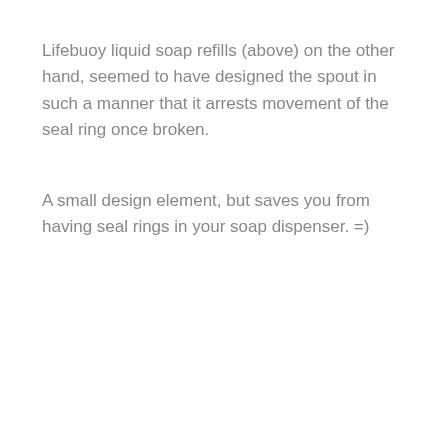Lifebuoy liquid soap refills (above) on the other hand, seemed to have designed the spout in such a manner that it arrests movement of the seal ring once broken.
A small design element, but saves you from having seal rings in your soap dispenser. =)